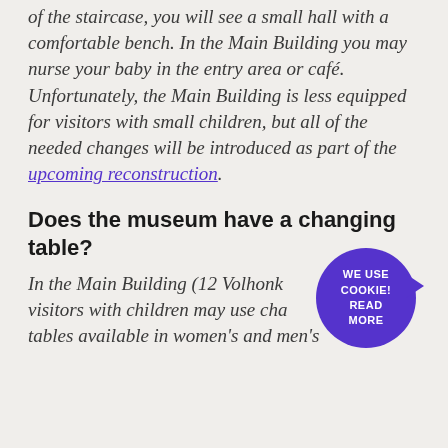of the staircase, you will see a small hall with a comfortable bench. In the Main Building you may nurse your baby in the entry area or café. Unfortunately, the Main Building is less equipped for visitors with small children, but all of the needed changes will be introduced as part of the upcoming reconstruction.
Does the museum have a changing table?
In the Main Building (12 Volhonk... visitors with children may use cha... tables available in women's and men's...
[Figure (other): Purple circular cookie notice badge with text 'WE USE COOKIE! READ MORE']